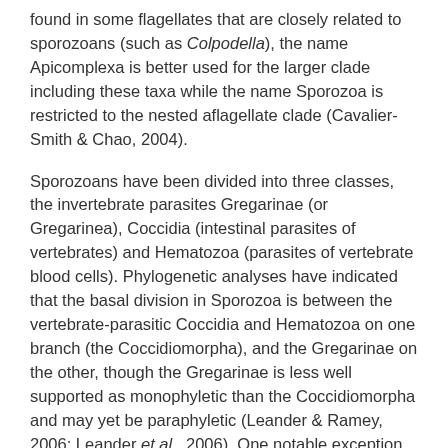found in some flagellates that are closely related to sporozoans (such as Colpodella), the name Apicomplexa is better used for the larger clade including these taxa while the name Sporozoa is restricted to the nested aflagellate clade (Cavalier-Smith & Chao, 2004).
Sporozoans have been divided into three classes, the invertebrate parasites Gregarinae (or Gregarinea), Coccidia (intestinal parasites of vertebrates) and Hematozoa (parasites of vertebrate blood cells). Phylogenetic analyses have indicated that the basal division in Sporozoa is between the vertebrate-parasitic Coccidia and Hematozoa on one branch (the Coccidiomorpha), and the Gregarinae on the other, though the Gregarinae is less well supported as monophyletic than the Coccidiomorpha and may yet be paraphyletic (Leander & Ramey, 2006; Leander et al., 2006). One notable exception is that the vertebrate parasite Cryptosporidium, previously regarded as a coccidian, may in fact be related to the gregarines or even derived from within them. Not surprisingly, their choice of hosts means that the Coccidiomorpha are by far the better studied of the two clades, while the Gregarinae have kind of been the poor